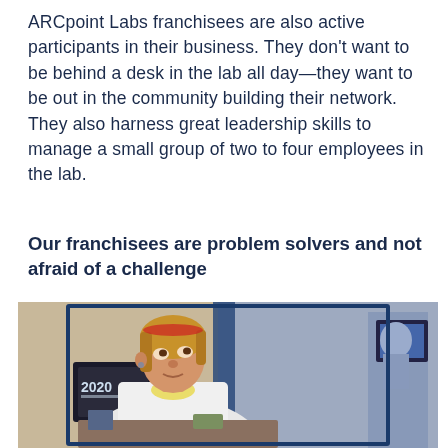ARCpoint Labs franchisees are also active participants in their business. They don't want to be behind a desk in the lab all day—they want to be out in the community building their network. They also harness great leadership skills to manage a small group of two to four employees in the lab.
Our franchisees are problem solvers and not afraid of a challenge
[Figure (photo): A woman in a white lab coat with a face mask pulled down, looking upward and to the right, seated at a desk in what appears to be a lab or office setting. A '2020' calendar or sign is visible in the background on the left, and a framed item and blue divider wall are visible on the right.]